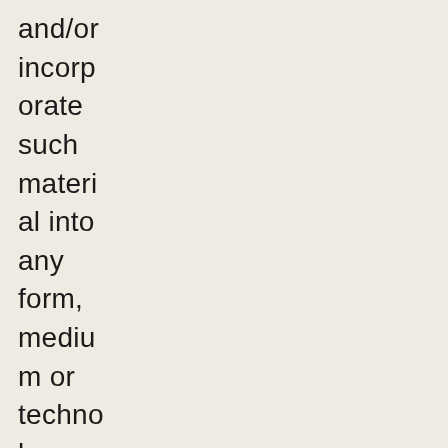and/or incorp orate such materi al into any form, mediu m or techno logy throug hout the world withou t compe